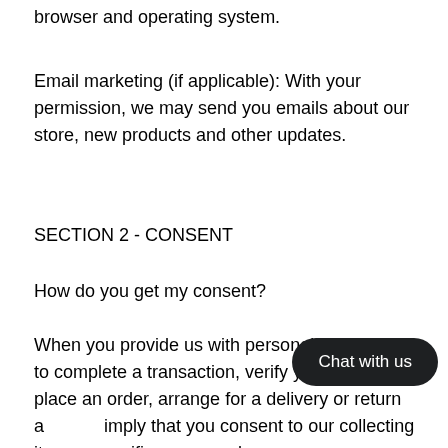browser and operating system.
Email marketing (if applicable): With your permission, we may send you emails about our store, new products and other updates.
SECTION 2 - CONSENT
How do you get my consent?
When you provide us with personal information to complete a transaction, verify your credit card, place an order, arrange for a delivery or return a… imply that you consent to our collecting it an… specific reason only.